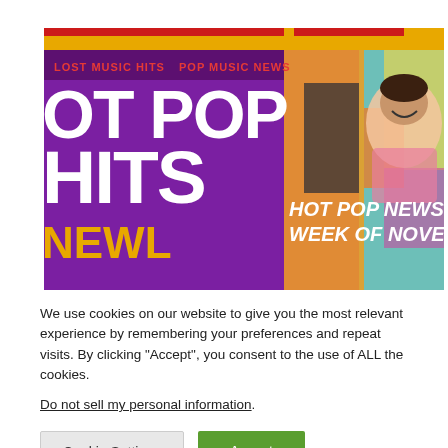[Figure (screenshot): Website banner for a pop music news site. Left side shows purple background with text 'LOST MUSIC HITS' in red and large white text 'OT POP HITS NEWL'. Center/right shows orange/yellow blocks and a photo of a smiling man in front of colorful street art mural. Bold white italic text reads 'HOT POP NEWS THE SECOND WEEK OF NOVEMBER 2018']
We use cookies on our website to give you the most relevant experience by remembering your preferences and repeat visits. By clicking "Accept", you consent to the use of ALL the cookies.
Do not sell my personal information.
Cookie Settings
Accept